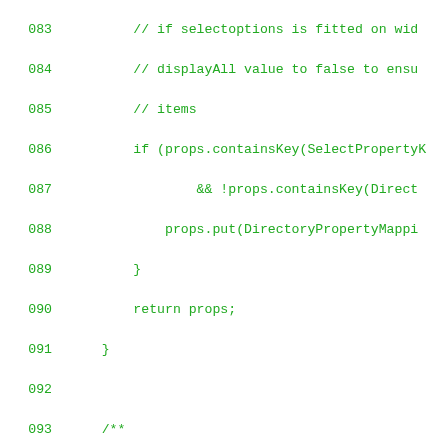[Figure (screenshot): Source code listing in monospace green font on white background, showing Java code lines 083 through 111. Lines include comments, if statements with props.containsKey, return props, a Javadoc comment block about getTagAttributes method, and method body with TagAttributes, BuiltinWidgetModes, List<String> excludedProperties.]